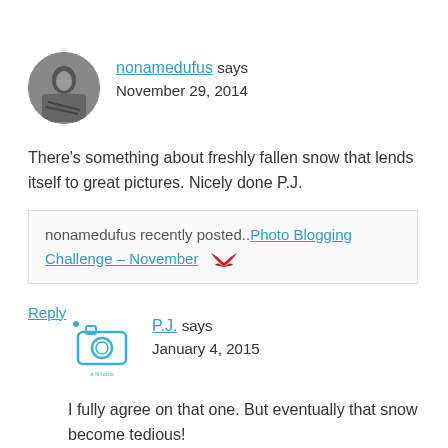[Figure (photo): Circular avatar photo of nonamedufus, black and white image of a person lying down]
nonamedufus says
November 29, 2014
There's something about freshly fallen snow that lends itself to great pictures. Nicely done P.J.
nonamedufus recently posted..Photo Blogging Challenge – November
Reply
[Figure (logo): Small avatar logo for P.J. - a liltle fotus blog]
P.J. says
January 4, 2015
I fully agree on that one. But eventually that snow become tedious!